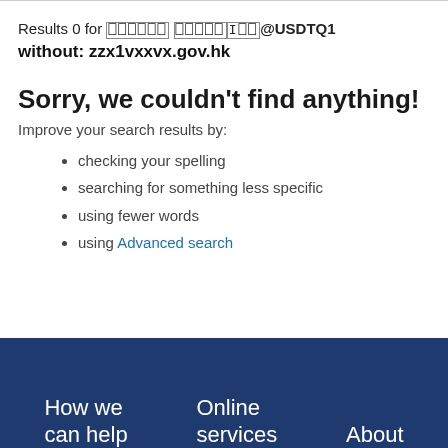Results 0 for [garbled]@USDTQ1 without: zzx1vxxvx.gov.hk
Sorry, we couldn't find anything!
Improve your search results by:
checking your spelling
searching for something less specific
using fewer words
using Advanced search
How we can help | Online services | About